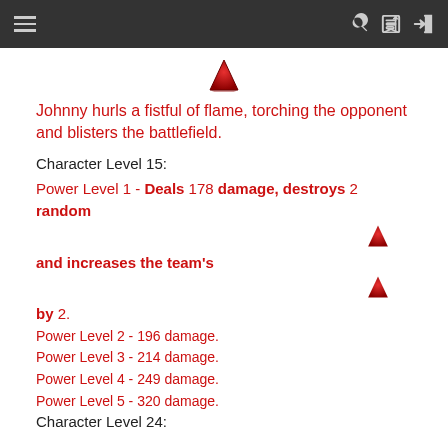≡  🔍 →
[Figure (illustration): Red flame/volcano emoji icon centered at top of content area]
Johnny hurls a fistful of flame, torching the opponent and blisters the battlefield.
Character Level 15:
Power Level 1 - Deals 178 damage, destroys 2 random [icon] and increases the team's [icon] by 2.
Power Level 2 - 196 damage.
Power Level 3 - 214 damage.
Power Level 4 - 249 damage.
Power Level 5 - 320 damage.
Character Level 24: